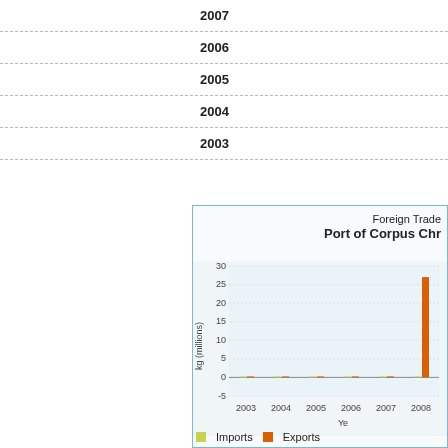| Year |
| --- |
| 2007 |
| 2006 |
| 2005 |
| 2004 |
| 2003 |
[Figure (bar-chart): Foreign Trade - Port of Corpus Christi]
Imports  Exports